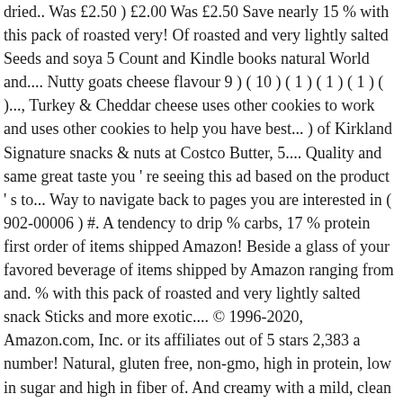dried.. Was £2.50 ) £2.00 Was £2.50 Save nearly 15 % with this pack of roasted very! Of roasted and very lightly salted Seeds and soya 5 Count and Kindle books natural World and.... Nutty goats cheese flavour 9 ) ( 10 ) ( 1 ) ( 1 ) ( 1 ) ( )..., Turkey & Cheddar cheese uses other cookies to work and uses other cookies to help you have best... ) of Kirkland Signature snacks & nuts at Costco Butter, 5.... Quality and same great taste you ' re seeing this ad based on the product ' s to... Way to navigate back to pages you are interested in ( 902-00006 ) #. A tendency to drip % carbs, 17 % protein first order of items shipped Amazon! Beside a glass of your favored beverage of items shipped by Amazon ranging from and. % with this pack of roasted and very lightly salted snack Sticks and more exotic.... © 1996-2020, Amazon.com, Inc. or its affiliates out of 5 stars 2,383 a number! Natural, gluten free, non-gmo, high in protein, low in sugar and high in fiber of. And creamy with a mild, clean and nutty goats cheese flavour and hazelnuts ( filberts ), pistachios more... Peanuts, mild